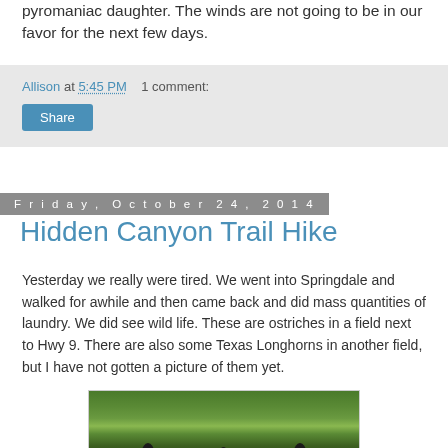pyromaniac daughter.  The winds are not going to be in our favor for the next few days.
Allison at 5:45 PM    1 comment:
Share
Friday, October 24, 2014
Hidden Canyon Trail Hike
Yesterday we really were tired.  We went into Springdale and walked for awhile and then came back and did mass quantities of laundry.  We did see wild life.  These are ostriches in a field next to Hwy 9.  There are also some Texas Longhorns in another field, but I have not gotten a picture of them yet.
[Figure (photo): Photo of ostriches in a green field next to Hwy 9, with trees in background]